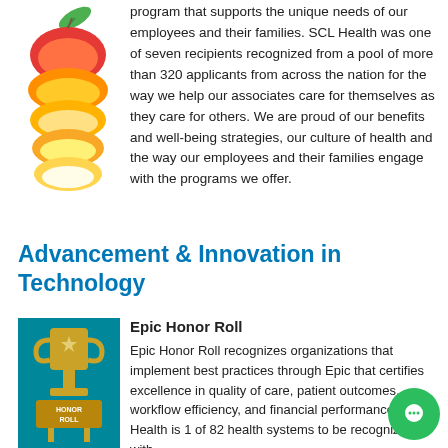[Figure (illustration): Sliced mango/apple fruit illustration on the left side of the top text block]
program that supports the unique needs of our employees and their families. SCL Health was one of seven recipients recognized from a pool of more than 320 applicants from across the nation for the way we help our associates care for themselves as they care for others. We are proud of our benefits and well-being strategies, our culture of health and the way our employees and their families engage with the programs we offer.
Advancement & Innovation in Technology
[Figure (illustration): Golden trophy award illustration on teal background labeled HONOR ROLL]
Epic Honor Roll
Epic Honor Roll recognizes organizations that implement best practices through Epic that certifies excellence in quality of care, patient outcomes, workflow efficiency, and financial performance. SCL Health is 1 of 82 health systems to be recognized with